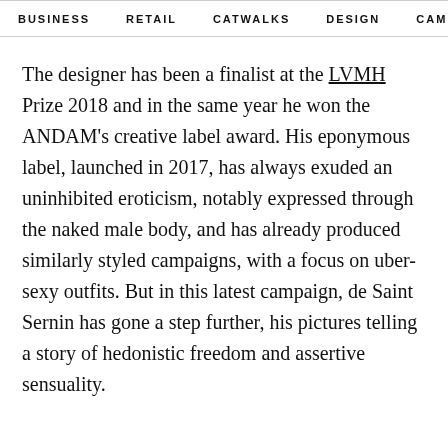BUSINESS   RETAIL   CATWALKS   DESIGN   CAMI >
The designer has been a finalist at the LVMH Prize 2018 and in the same year he won the ANDAM's creative label award. His eponymous label, launched in 2017, has always exuded an uninhibited eroticism, notably expressed through the naked male body, and has already produced similarly styled campaigns, with a focus on uber-sexy outfits. But in this latest campaign, de Saint Sernin has gone a step further, his pictures telling a story of hedonistic freedom and assertive sensuality.
Ludovic de Saint Sernin showed for the first time at Paris Fashion Week Men in June 2019, modelled by Lindez among others, and has now opted for the womenswear